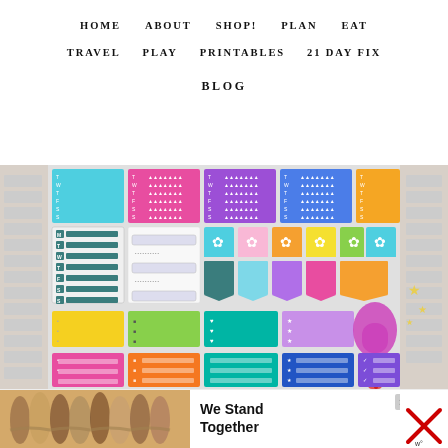HOME   ABOUT   SHOP!   PLAN   EAT
TRAVEL   PLAY   PRINTABLES   21 DAY FIX
BLOG
[Figure (photo): Colorful planner sticker sheet with weekly tracker stickers, habit trackers, banner stickers, and checklist stickers in teal, pink, purple, orange, yellow, and green colors. Scissors visible at bottom right.]
[Figure (infographic): Advertisement banner: We Stand Together, showing group of people from behind with arms around each other. Close button (X) visible. Logo at bottom right.]